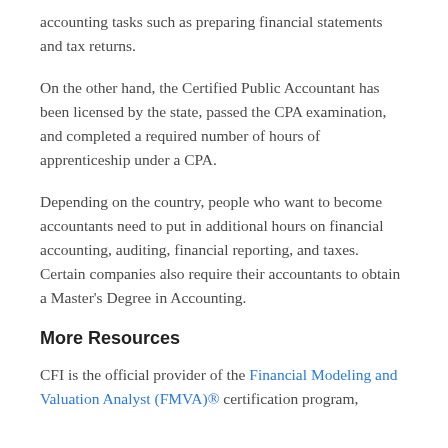accounting tasks such as preparing financial statements and tax returns.
On the other hand, the Certified Public Accountant has been licensed by the state, passed the CPA examination, and completed a required number of hours of apprenticeship under a CPA.
Depending on the country, people who want to become accountants need to put in additional hours on financial accounting, auditing, financial reporting, and taxes. Certain companies also require their accountants to obtain a Master's Degree in Accounting.
More Resources
CFI is the official provider of the Financial Modeling and Valuation Analyst (FMVA)® certification program,